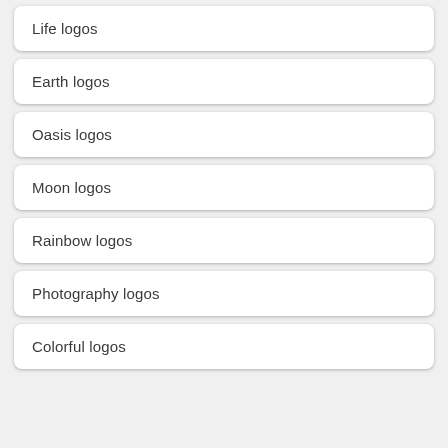Life logos
Earth logos
Oasis logos
Moon logos
Rainbow logos
Photography logos
Colorful logos